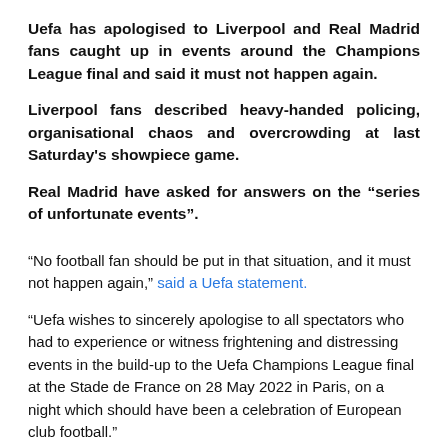Uefa has apologised to Liverpool and Real Madrid fans caught up in events around the Champions League final and said it must not happen again.
Liverpool fans described heavy-handed policing, organisational chaos and overcrowding at last Saturday's showpiece game.
Real Madrid have asked for answers on the “series of unfortunate events”.
“No football fan should be put in that situation, and it must not happen again,” said a Uefa statement.
“Uefa wishes to sincerely apologise to all spectators who had to experience or witness frightening and distressing events in the build-up to the Uefa Champions League final at the Stade de France on 28 May 2022 in Paris, on a night which should have been a celebration of European club football.”